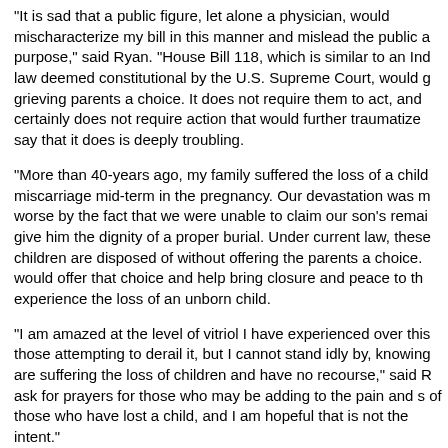“It is sad that a public figure, let alone a physician, would mischaracterize my bill in this manner and mislead the public a purpose,” said Ryan. “House Bill 118, which is similar to an Ind law deemed constitutional by the U.S. Supreme Court, would g grieving parents a choice. It does not require them to act, and certainly does not require action that would further traumatize say that it does is deeply troubling.
“More than 40-years ago, my family suffered the loss of a child miscarriage mid-term in the pregnancy. Our devastation was m worse by the fact that we were unable to claim our son’s remai give him the dignity of a proper burial. Under current law, these children are disposed of without offering the parents a choice. would offer that choice and help bring closure and peace to th experience the loss of an unborn child.
“I am amazed at the level of vitriol I have experienced over this those attempting to derail it, but I cannot stand idly by, knowing are suffering the loss of children and have no recourse,” said R ask for prayers for those who may be adding to the pain and s of those who have lost a child, and I am hopeful that is not the intent.”
House Bill 118 is now under consideration in the House. To vie bill, click here.